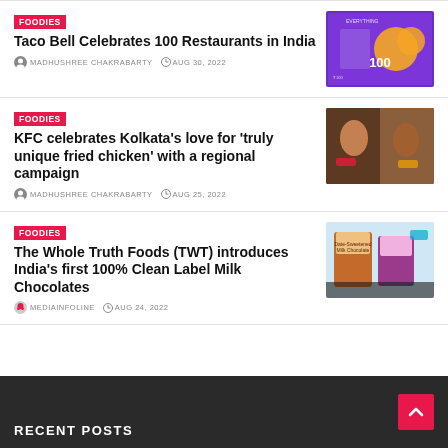FOODIES
Taco Bell Celebrates 100 Restaurants in India
MADHUSHREE CHAKRABARTY   AUG 30, 2022
[Figure (photo): Taco Bell 100 restaurants promo image with purple background and logo]
FOODIES
KFC celebrates Kolkata's love for 'truly unique fried chicken' with a regional campaign
MADHUSHREE CHAKRABARTY   AUG 25, 2022
[Figure (photo): Two men in a KFC campaign photo]
FOODIES
The Whole Truth Foods (TWT) introduces India's first 100% Clean Label Milk Chocolates
MEDIAINFOLINE   AUG 24, 2022
[Figure (photo): The Whole Truth Foods chocolate product packaging image]
RECENT POSTS